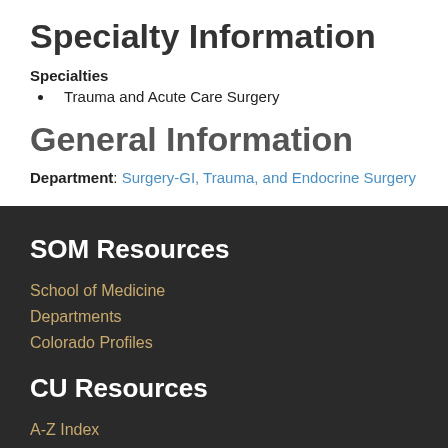Specialty Information
Specialties
Trauma and Acute Care Surgery
General Information
Department: Surgery-GI, Trauma, and Endocrine Surgery
SOM Resources
School of Medicine
Departments
Colorado Profiles
CU Resources
A-Z Index
CU Portal
Email
AMC Library